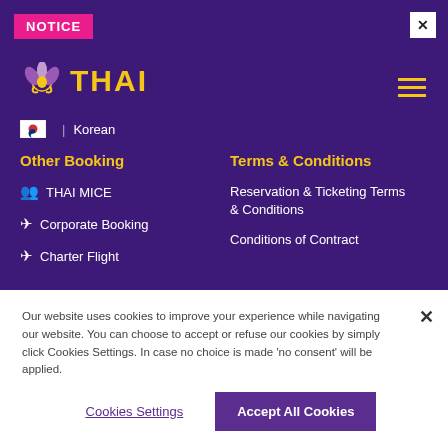NOTICE
[Figure (logo): Thai Airways logo with golden lotus bud icon and THAI text in gold]
Korean
Other Booking
Terms & Conditions
THAI MICE
Corporate Booking
Charter Flight
Reservation & Ticketing Terms & Conditions
Conditions of Contract
Our website uses cookies to improve your experience while navigating our website. You can choose to accept or refuse our cookies by simply click Cookies Settings. In case no choice is made 'no consent' will be applied.
Cookies Settings
Accept All Cookies